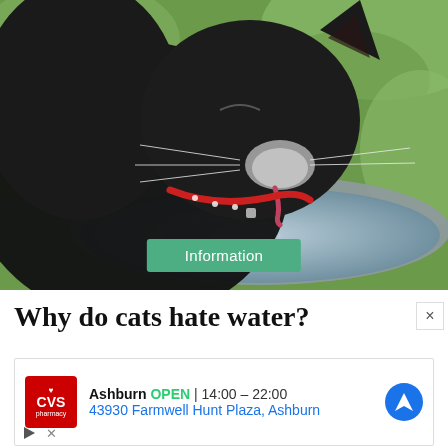[Figure (photo): A black cat with a red polka-dot collar drinking water from a silver bowl/bucket, with green foliage background. A green 'Information' badge is overlaid at the bottom center of the photo.]
Why do cats hate water?
[Figure (other): CVS Pharmacy advertisement showing: Ashburn OPEN 14:00 - 22:00, 43930 Farmwell Hunt Plaza, Ashburn, with a navigation/directions icon on the right.]